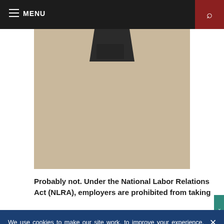MENU
[Figure (photo): Partial view of a dark mechanical object (possibly a gun or tool component) against a tan/beige background]
Probably not. Under the National Labor Relations Act (NLRA), employers are prohibited from taking
We use cookies to make our site work, to improve your experience, and we use our own, and third-party cookies, for advertising. Please see our Cookie Policy for more information and how to disable them. By clicking accept, or closing the message and continuing to use this site, you agree to our use of cookies.
ACCEPT